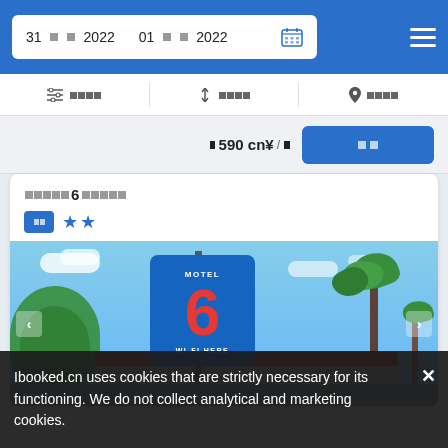31 [squares] 2022   01 [squares] 2022  [calendar icon] [hamburger menu]
[filter icon] [squares]   [sort icon] [squares]   [location icon] [squares]
[square] 590 cn¥/[square]  [book button: squares]
[squares]6[squares] — Motel 6 hotel card
[Figure (photo): Exterior photo of a Motel 6 with blue sign showing large red number 6 and 'WI-FI HERE'. Blue sky, palm trees, red-roofed building in background.]
Ibooked.cn uses cookies that are strictly necessary for its functioning. We do not collect analytical and marketing cookies.